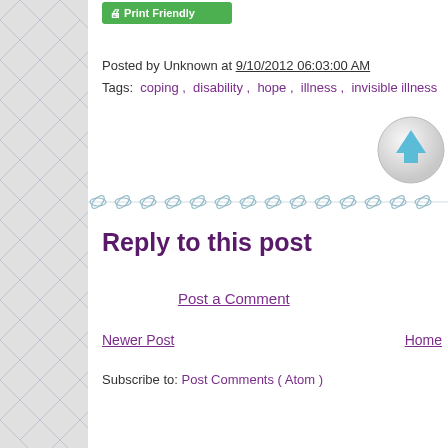[Figure (other): Green Print Friendly button at top]
Posted by Unknown at 9/10/2012 06:03:00 AM
Tags: coping , disability , hope , illness , invisible illness
[Figure (other): Scroll-up circular button with upward arrow]
[Figure (other): Decorative divider with ornamental pattern]
Reply to this post
Post a Comment
Newer Post   Home
Subscribe to: Post Comments ( Atom )